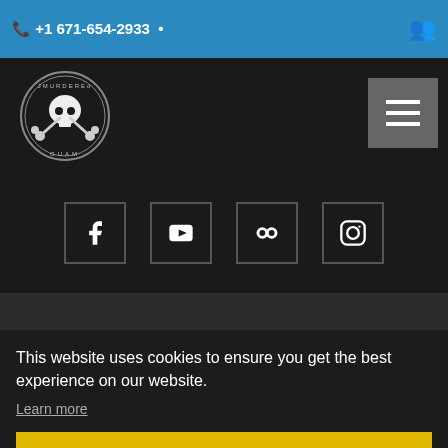+1 671-654-2933
[Figure (logo): JMurders Guam skull crossbones logo]
[Figure (infographic): Social media icons: Facebook, YouTube, Flickr, Instagram]
Latest Posts
30 JAN, 2020 BY MSCHEIBE
January 27th 2020
19 JAN, 2020 BY MSCHEIBE
Jack's Journal January 19, 2020
17 APR, 2017 BY MEGANS
This website uses cookies to ensure you get the best experience on our website.
Learn more
Got it!